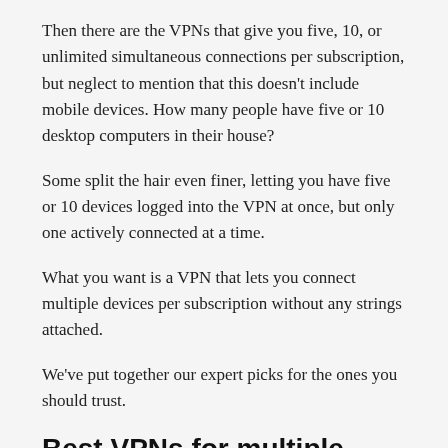Then there are the VPNs that give you five, 10, or unlimited simultaneous connections per subscription, but neglect to mention that this doesn’t include mobile devices. How many people have five or 10 desktop computers in their house?
Some split the hair even finer, letting you have five or 10 devices logged into the VPN at once, but only one actively connected at a time.
What you want is a VPN that lets you connect multiple devices per subscription without any strings attached.
We’ve put together our expert picks for the ones you should trust.
Best VPNs for multiple devices — our expert picks